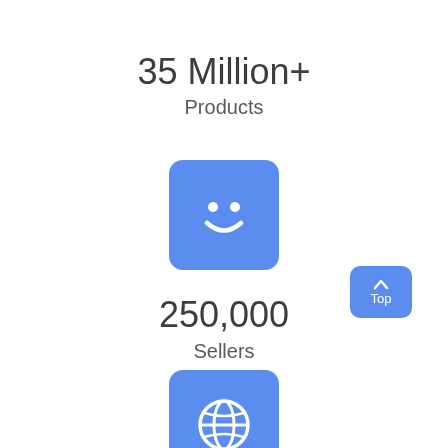35 Million+
Products
[Figure (illustration): Blue rounded square icon with a white smiley face (two dot eyes and curved smile)]
250,000
Sellers
[Figure (illustration): Blue rounded square icon with a white globe/earth symbol]
[Figure (illustration): Blue rounded rectangle button with upward arrow and text 'Top']